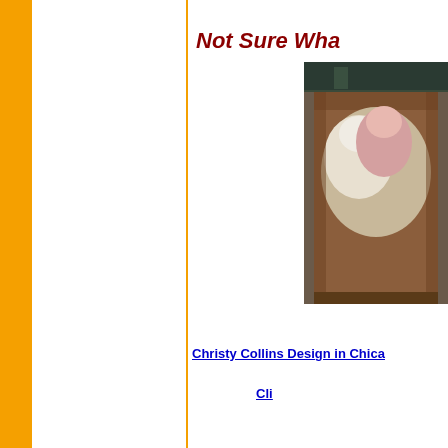Not Sure Wha
[Figure (photo): Photo of paper bags with wrapped items, appears to be grocery or market bags with items wrapped in white plastic/paper inside brown paper bags, photographed outdoors]
Christy Collins Design in Chica
Cli